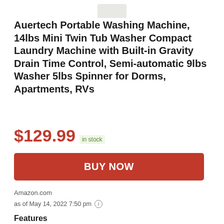[Figure (photo): Partial view of a portable washing machine product image, showing only the top portion (cap/lid area) of the appliance in light gray/white color.]
Auertech Portable Washing Machine, 14lbs Mini Twin Tub Washer Compact Laundry Machine with Built-in Gravity Drain Time Control, Semi-automatic 9lbs Washer 5lbs Spinner for Dorms, Apartments, RVs
$129.99  in stock
BUY NOW
Amazon.com
as of May 14, 2022 7:50 pm
Features